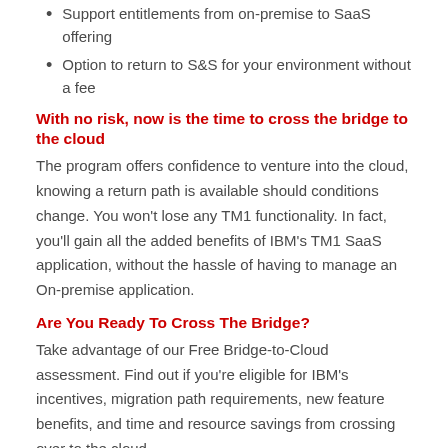Support entitlements from on-premise to SaaS offering
Option to return to S&S for your environment without a fee
With no risk, now is the time to cross the bridge to the cloud
The program offers confidence to venture into the cloud, knowing a return path is available should conditions change. You won't lose any TM1 functionality. In fact, you'll gain all the added benefits of IBM's TM1 SaaS application, without the hassle of having to manage an On-premise application.
Are You Ready To Cross The Bridge?
Take advantage of our Free Bridge-to-Cloud assessment. Find out if you're eligible for IBM's incentives, migration path requirements, new feature benefits, and time and resource savings from crossing over to the cloud.
Learn how we helped Alaska Airlines deploy TM1 on the Cloud and how it's impacting their business. Download the Alaska project case study and receive the eBook “Cloud Deployment for Dummies” compliments of Locus Solutions.